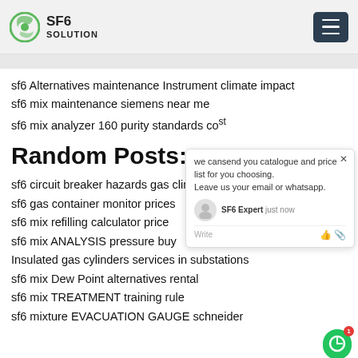SF6 SOLUTION
sf6 Alternatives maintenance Instrument climate impact
sf6 mix maintenance siemens near me
sf6 mix analyzer 160 purity standards cost
Random Posts:
sf6 circuit breaker hazards gas climate i…
sf6 gas container monitor prices
sf6 mix refilling calculator price
sf6 mix ANALYSIS pressure buy
Insulated gas cylinders services in substations
sf6 mix Dew Point alternatives rental
sf6 mix TREATMENT training rule
sf6 mixture EVACUATION GAUGE schneider